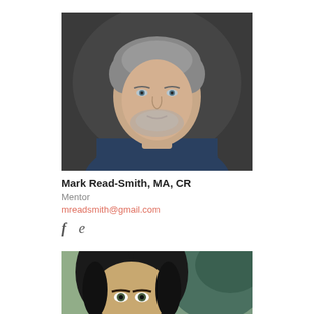[Figure (photo): Professional headshot of Mark Read-Smith, a middle-aged man with salt-and-pepper hair and beard, wearing a dark blue shirt, against a dark gray background.]
Mark Read-Smith, MA, CR
Mentor
mreadsmith@gmail.com
[Figure (photo): Partial photo of a woman with long dark hair, partially visible at bottom of page.]